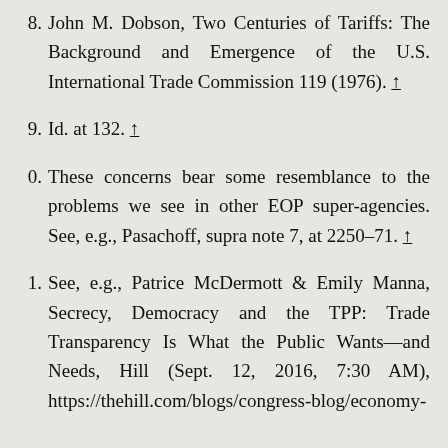8. John M. Dobson, Two Centuries of Tariffs: The Background and Emergence of the U.S. International Trade Commission 119 (1976). ↑
9. Id. at 132. ↑
0. These concerns bear some resemblance to the problems we see in other EOP super-agencies. See, e.g., Pasachoff, supra note 7, at 2250–71. ↑
1. See, e.g., Patrice McDermott & Emily Manna, Secrecy, Democracy and the TPP: Trade Transparency Is What the Public Wants—and Needs, Hill (Sept. 12, 2016, 7:30 AM), https://thehill.com/blogs/congress-blog/economy-